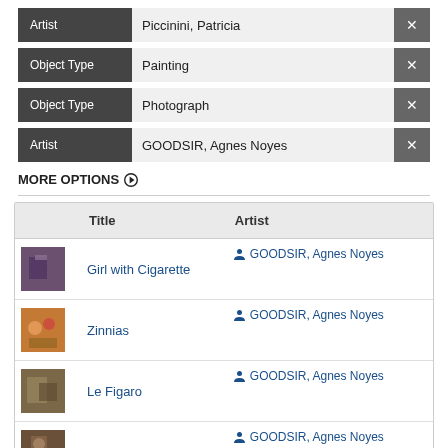Artist: Piccinini, Patricia [x]
Object Type: Painting [x]
Object Type: Photograph [x]
Artist: GOODSIR, Agnes Noyes [x]
MORE OPTIONS ▶
|  | Title | Artist |
| --- | --- | --- |
| [img] | Girl with Cigarette | GOODSIR, Agnes Noyes |
| [img] | Zinnias | GOODSIR, Agnes Noyes |
| [img] | Le Figaro | GOODSIR, Agnes Noyes |
| [img] | Girl in chemise | GOODSIR, Agnes Noyes |